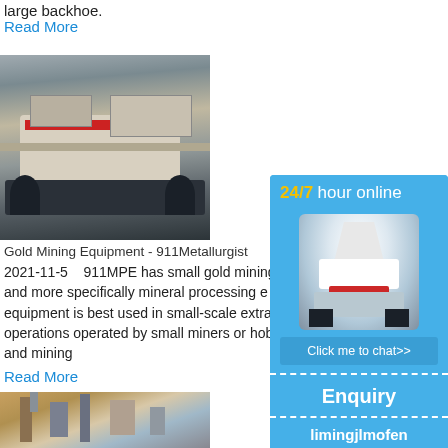large backhoe.
Read More
[Figure (photo): Mobile jaw crusher / tracked mining crusher on rocky terrain]
Gold Mining Equipment - 911Metallurgist
2021-11-5   911MPE has small gold mining equipment for sale and more specifically mineral processing equipment is best used in small-scale extraction operations operated by small miners or hobbyists and mining
Read More
[Figure (photo): Gold mining processing plant / industrial mining facility]
[Figure (infographic): 24/7 hour online sidebar with cone crusher image, Click me to chat>> button, Enquiry section, limingjlmofen text]